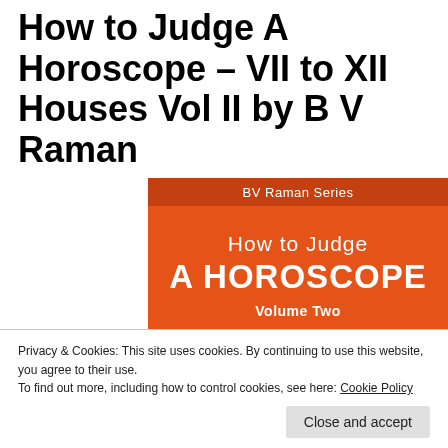How to Judge A Horoscope – VII to XII Houses Vol II by B V Raman
[Figure (photo): Book cover of 'How to Judge A Horoscope Volume Two' by B.V. Raman, part of the BV Raman Series. Orange cover with white text.]
Privacy & Cookies: This site uses cookies. By continuing to use this website, you agree to their use.
To find out more, including how to control cookies, see here: Cookie Policy
Close and accept